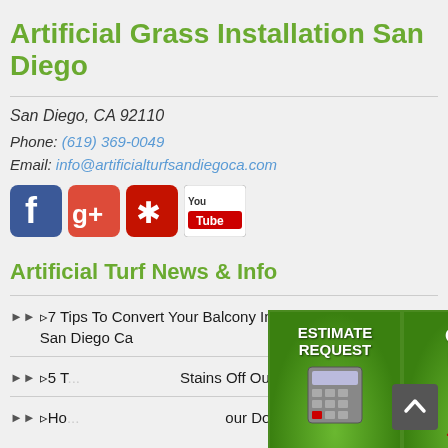Artificial Grass Installation San Diego
San Diego, CA 92110
Phone: (619) 369-0049
Email: info@artificialturfsandiegoca.com
[Figure (logo): Social media icons: Facebook, Google+, Yelp, YouTube]
Artificial Turf News & Info
▷7 Tips To Convert Your Balcony Into Artificial Grass Lawn San Diego Ca
▷5 Tips... Stains Off Our... Ca
[Figure (infographic): Estimate Request button with calculator on grass background and Call Now button with red phone on grass background]
▷Ho... our Dog Run In San Diego Ca?